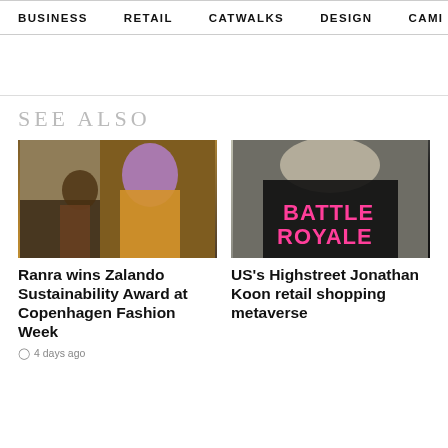BUSINESS   RETAIL   CATWALKS   DESIGN   CAMI >
SEE ALSO
[Figure (photo): Fashion runway photo showing models walking, lead model wearing purple headwear and mustard yellow jacket]
Ranra wins Zalando Sustainability Award at Copenhagen Fashion Week
4 days ago
[Figure (photo): Person wearing black t-shirt with pink text reading BATTLE ROYALE on the back, seen from behind]
US's Highstreet Jonathan Koon retail shopping metaverse